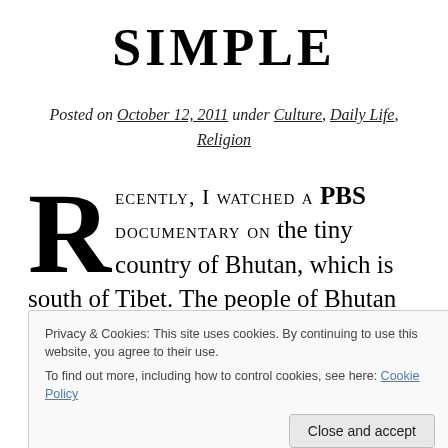SIMPLE
Posted on October 12, 2011 under Culture, Daily Life, Religion
Recently, I watched a PBS documentary on the tiny country of Bhutan, which is south of Tibet. The people of Bhutan live by the philosophy espoused by their leader, who, incredible as it might
Privacy & Cookies: This site uses cookies. By continuing to use this website, you agree to their use. To find out more, including how to control cookies, see here: Cookie Policy
Close and accept
democracy. The philosophy in which he guides his